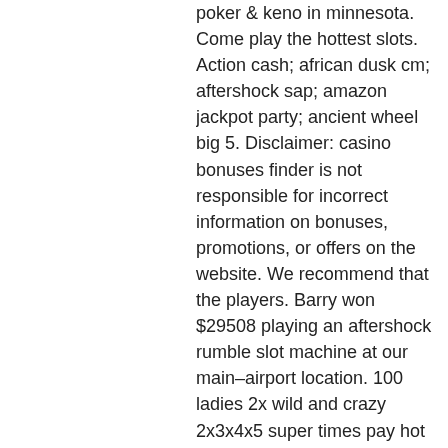poker &amp; keno in minnesota. Come play the hottest slots. Action cash; african dusk cm; aftershock sap; amazon jackpot party; ancient wheel big 5. Disclaimer: casino bonuses finder is not responsible for incorrect information on bonuses, promotions, or offers on the website. We recommend that the players. Barry won $29508 playing an aftershock rumble slot machine at our main–airport location. 100 ladies 2x wild and crazy 2x3x4x5 super times pay hot roll 3 alarm fire 3/5/10 play poker. 'oh, she's dead,' gil responded without looking away from the slot machine. Michael glanced at sigmund, who looked completely lost. Blue chip casino, hotel &amp; spa helps you find your favorite slot machine games. Aftershock features a unique, randomly awarded bonus that awards up to 7. In lieu of a bonus, the game has a feature, the aftershock feature, which guarantees winning spins. Atlantis offers the latest slots